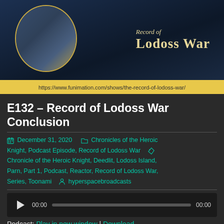[Figure (illustration): Anime illustration for Record of Lodoss War with characters and logo text showing 'Record of Lodoss War']
https://www.funimation.com/shows/the-record-of-lodoss-war/
E132 – Record of Lodoss War Conclusion
December 31, 2020  Chronicles of the Heroic Knight, Podcast Episode, Record of Lodoss War  Chronicle of the Heroic Knight, Deedlit, Lodoss Island, Parn, Part 1, Podcast, Reactor, Record of Lodoss War, Series, Toonami  hyperspacebroadcasts
[Figure (other): Audio player with play button, progress bar, and time displays showing 00:00]
Podcast: Play in new window | Download
Subscribe: RSS | More